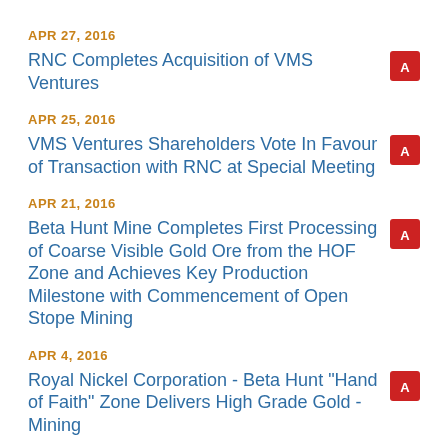APR 27, 2016
RNC Completes Acquisition of VMS Ventures
APR 25, 2016
VMS Ventures Shareholders Vote In Favour of Transaction with RNC at Special Meeting
APR 21, 2016
Beta Hunt Mine Completes First Processing of Coarse Visible Gold Ore from the HOF Zone and Achieves Key Production Milestone with Commencement of Open Stope Mining
APR 4, 2016
Royal Nickel Corporation - Beta Hunt "Hand of Faith" Zone Delivers High Grade Gold - Mining